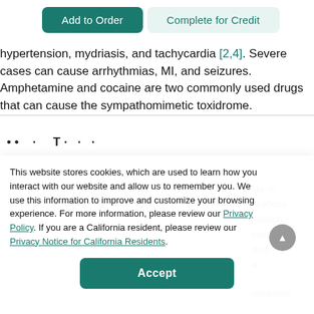Add to Order | Complete for Credit
hypertension, mydriasis, and tachycardia [2,4]. Severe cases can cause arrhythmias, MI, and seizures. Amphetamine and cocaine are two commonly used drugs that can cause the sympathomimetic toxidrome.
...
This website stores cookies, which are used to learn how you interact with our website and allow us to remember you. We use this information to improve and customize your browsing experience. For more information, please review our Privacy Policy. If you are a California resident, please review our Privacy Notice for California Residents.
Accept